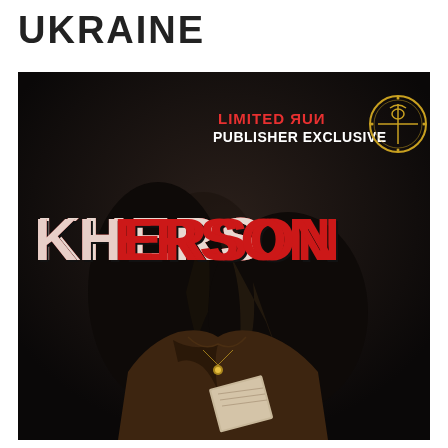UKRAINE
[Figure (illustration): Book or game cover art with dark background. A person with long dark hair facing away, wearing a brown jacket. Large stylized text 'KHERSON' in red and white across the center. Upper right shows 'LIMITED RUN PUBLISHER EXCLUSIVE' text in red and white with a gold circular occult-style symbol/logo.]